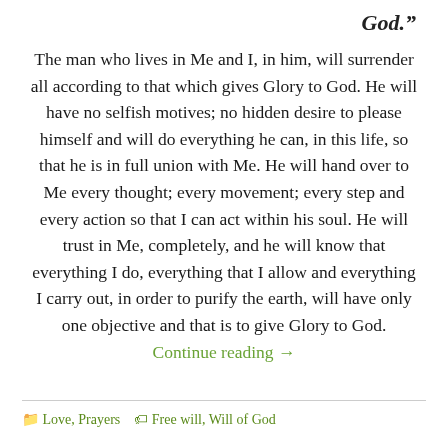God.”
The man who lives in Me and I, in him, will surrender all according to that which gives Glory to God. He will have no selfish motives; no hidden desire to please himself and will do everything he can, in this life, so that he is in full union with Me. He will hand over to Me every thought; every movement; every step and every action so that I can act within his soul. He will trust in Me, completely, and he will know that everything I do, everything that I allow and everything I carry out, in order to purify the earth, will have only one objective and that is to give Glory to God. Continue reading →
Love, Prayers   Free will, Will of God